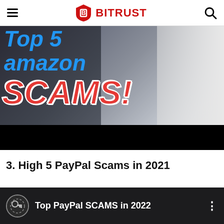BITRUST
[Figure (screenshot): Video thumbnail showing 'Top 5 Amazon SCAMS!' text overlay in blue and red bold italic font on a dark background with a person visible on the right side]
3. High 5 PayPal Scams in 2021
[Figure (screenshot): Video thumbnail for 'Top PayPal SCAMS in 2022' with channel icon showing a key/lock symbol and three-dot menu icon on dark background]